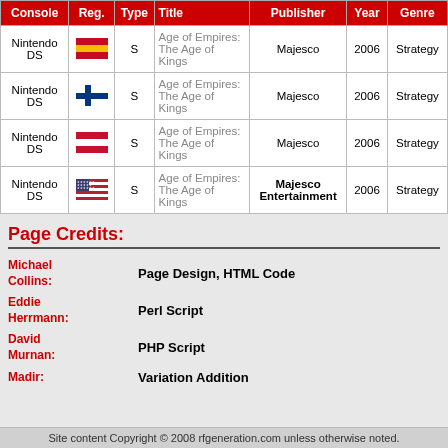| Console | Reg. | Type | Title | Publisher | Year | Genre |
| --- | --- | --- | --- | --- | --- | --- |
| Nintendo DS | 🇪🇸 | S | Age of Empires: The Age of Kings | Majesco | 2006 | Strategy |
| Nintendo DS | 🇫🇮 | S | Age of Empires: The Age of Kings | Majesco | 2006 | Strategy |
| Nintendo DS | 🇦🇹 | S | Age of Empires: The Age of Kings | Majesco | 2006 | Strategy |
| Nintendo DS | 🇺🇸 | S | Age of Empires: The Age of Kings | Majesco Entertainment | 2006 | Strategy |
Page Credits:
Michael Collins: Page Design, HTML Code
Eddie Herrmann: Perl Script
David Murnan: PHP Script
Madir: Variation Addition
Last Updated: 2013-04-13 03:36:37
Site content Copyright © 2008 rfgeneration.com unless otherwise noted.